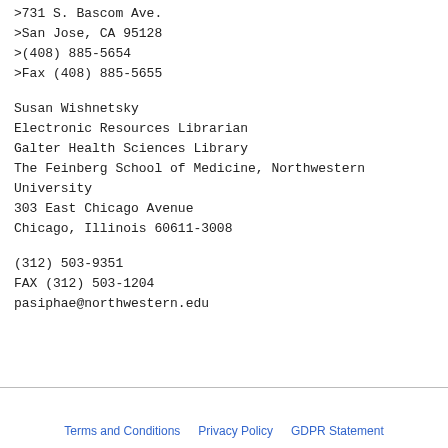>731 S. Bascom Ave.
>San Jose, CA 95128
>(408) 885-5654
>Fax (408) 885-5655
Susan Wishnetsky
Electronic Resources Librarian
Galter Health Sciences Library
The Feinberg School of Medicine, Northwestern University
303 East Chicago Avenue
Chicago, Illinois 60611-3008
(312) 503-9351
FAX (312) 503-1204
pasiphae@northwestern.edu
Terms and Conditions   Privacy Policy   GDPR Statement